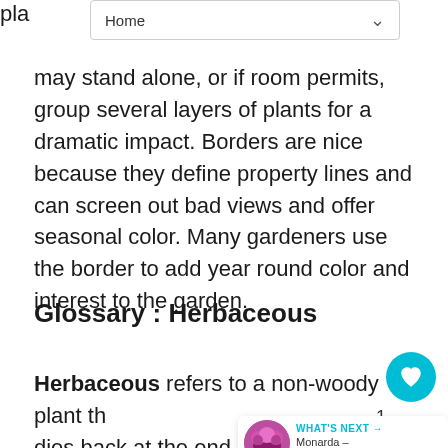Home
may stand alone, or if room permits, group several layers of plants for a dramatic impact. Borders are nice because they define property lines and can screen out bad views and offer seasonal color. Many gardeners use the border to add year round color and interest to the garden.
Glossary : Herbaceous
Herbaceous refers to a non-woody plant that dies back at the end of its growing season, generally after frost or during the fall of the year. The rootstock of perennials will overwinter, providing the plant is hardy in that zone where you are growing them.